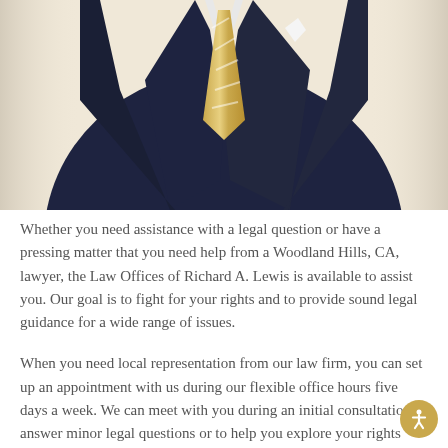[Figure (photo): Partial photo of a man in a dark navy suit with a gold/white striped tie and white pocket square, cropped to show torso only against a light beige background.]
Whether you need assistance with a legal question or have a pressing matter that you need help from a Woodland Hills, CA, lawyer, the Law Offices of Richard A. Lewis is available to assist you. Our goal is to fight for your rights and to provide sound legal guidance for a wide range of issues.
When you need local representation from our law firm, you can set up an appointment with us during our flexible office hours five days a week. We can meet with you during an initial consultation to answer minor legal questions or to help you explore your rights with more complicated issues. When you schedule now, you may be able to begin protecting your rights.